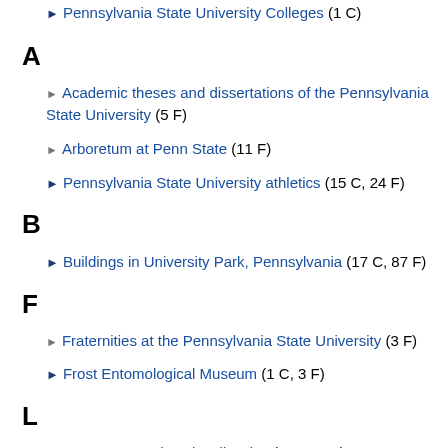Pennsylvania State University Colleges (1 C)
A
Academic theses and dissertations of the Pennsylvania State University (5 F)
Arboretum at Penn State (11 F)
Pennsylvania State University athletics (15 C, 24 F)
B
Buildings in University Park, Pennsylvania (17 C, 87 F)
F
Fraternities at the Pennsylvania State University (3 F)
Frost Entomological Museum (1 C, 3 F)
L
Penn State University Libraries (1 C, 10 F)